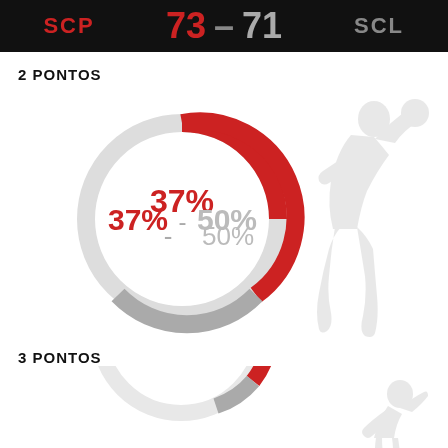SCP  73 - 71  SCL
2 PONTOS
[Figure (donut-chart): 2 PONTOS]
3 PONTOS
[Figure (donut-chart): Partially visible donut chart at bottom of page]